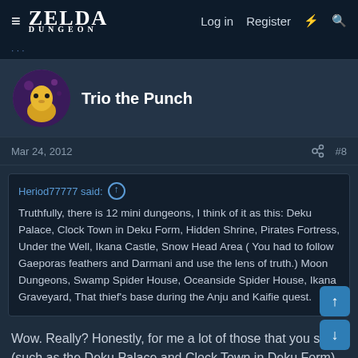ZELDA DUNGEON — Log in  Register
Trio the Punch
Mar 24, 2012  #8
Heriod77777 said: Truthfully, there is 12 mini dungeons, I think of it as this: Deku Palace, Clock Town in Deku Form, Hidden Shrine, Pirates Fortress, Under the Well, Ikana Castle, Snow Head Area ( You had to follow Gaeporas feathers and Darmani and use the lens of truth.) Moon Dungeons, Swamp Spider House, Oceanside Spider House, Ikana Graveyard, That thief's base during the Anju and Kaifie quest.
Wow. Really? Honestly, for me a lot of those that you said (such as the Deku Palace and Clock Town in Deku Form) would be like classifying the overworlds in Skyward Sword as mini-dungeons. I mean, as far as I'm concerned, just because